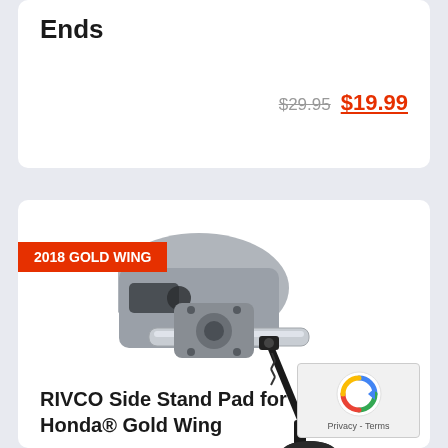Ends
$29.95 $19.99
[Figure (photo): Close-up photograph of a motorcycle side stand / kickstand with a black pad attached, mounted on a Honda Gold Wing motorcycle. The stand is black metal extending downward to a flat foot pad.]
2018 GOLD WING
RIVCO Side Stand Pad for Honda® Gold Wing